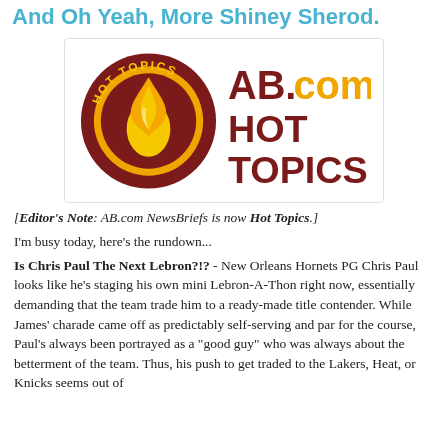And Oh Yeah, More Shiney Sherod.
[Figure (logo): AB.com Hot Topics logo — circular dark red badge with 'HOT TOPICS' text and flame emblem, next to bold text 'AB.com HOT TOPICS' in dark red and yellow]
[Editor's Note: AB.com NewsBriefs is now Hot Topics.]
I'm busy today, here's the rundown...
Is Chris Paul The Next Lebron?!? - New Orleans Hornets PG Chris Paul looks like he's staging his own mini Lebron-A-Thon right now, essentially demanding that the team trade him to a ready-made title contender. While James' charade came off as predictably self-serving and par for the course, Paul's always been portrayed as a "good guy" who was always about the betterment of the team. Thus, his push to get traded to the Lakers, Heat, or Knicks seems out of